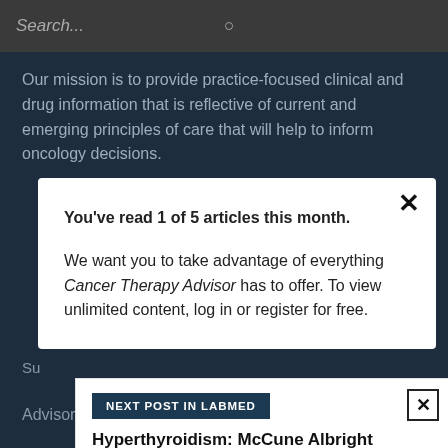Search...
Our mission is to provide practice-focused clinical and drug information that is reflective of current and emerging principles of care that will help to inform oncology decisions.
You've read 1 of 5 articles this month.

We want you to take advantage of everything Cancer Therapy Advisor has to offer. To view unlimited content, log in or register for free.
NEXT POST IN LABMED
Hyperthyroidism: McCune Albright Syndrome (MAS)
Su
Advisory Board